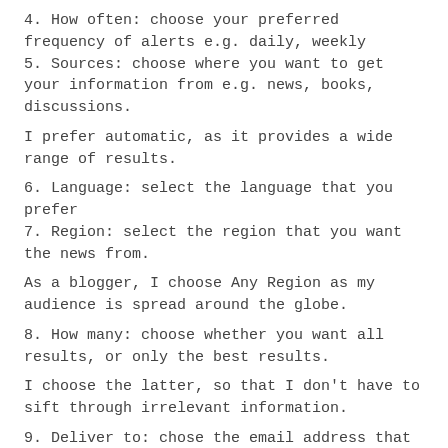4. How often: choose your preferred frequency of alerts e.g. daily, weekly
5. Sources: choose where you want to get your information from e.g. news, books, discussions.
I prefer automatic, as it provides a wide range of results.
6. Language: select the language that you prefer
7. Region: select the region that you want the news from.
As a blogger, I choose Any Region as my audience is spread around the globe.
8. How many: choose whether you want all results, or only the best results.
I choose the latter, so that I don't have to sift through irrelevant information.
9. Deliver to: chose the email address that you want the alerts to be sent to